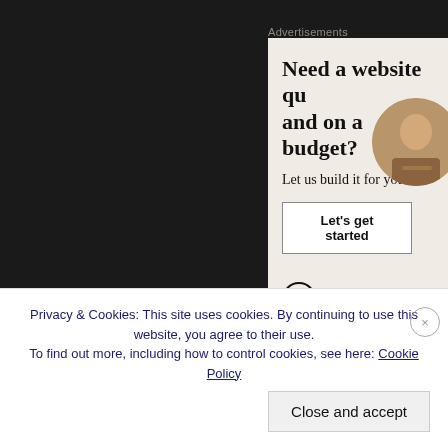Advertisements
[Figure (illustration): WordPress advertisement: 'Need a website quick and on a budget? Let us build it for you' with a 'Let's get started' button and WordPress logo. Beige/cream background with a decorative circular photo of a person at a laptop.]
Share this:
Privacy & Cookies: This site uses cookies. By continuing to use this website, you agree to their use.
To find out more, including how to control cookies, see here: Cookie Policy
Close and accept